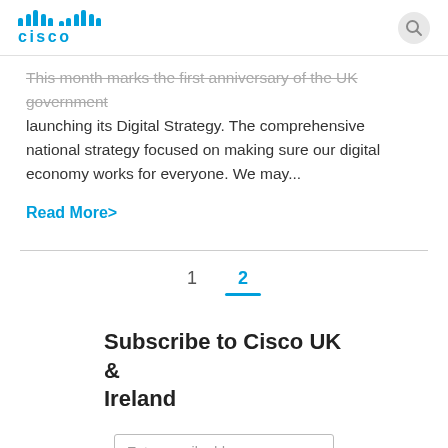cisco
This month marks the first anniversary of the UK government launching its Digital Strategy. The comprehensive national strategy focused on making sure our digital economy works for everyone. We may...
Read More>
1  2
Subscribe to Cisco UK & Ireland
Enter email address
Subscribe